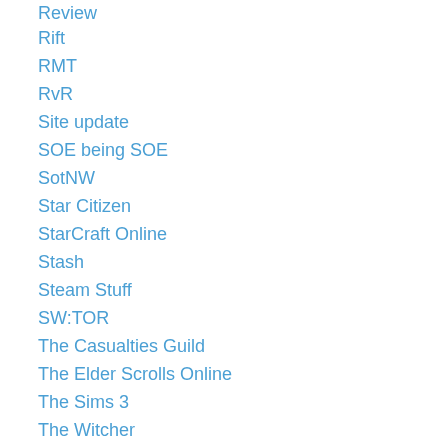Review
Rift
RMT
RvR
Site update
SOE being SOE
SotNW
Star Citizen
StarCraft Online
Stash
Steam Stuff
SW:TOR
The Casualties Guild
The Elder Scrolls Online
The Sims 3
The Witcher
Time Warp
Tobold being Wrong
Trion being Trion
Ultima Online